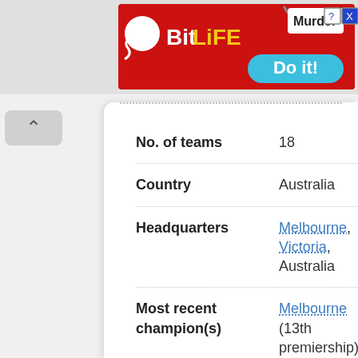[Figure (screenshot): BitLife mobile game advertisement banner with red background, BitLife logo with sperm icon, Murder Do it! call to action button, and close/help icons.]
| No. of teams | 18 |
| Country | Australia |
| Headquarters | Melbourne, Victoria, Australia |
| Most recent champion(s) | Melbourne (13th premiership) |
| Most titles | Carlton Essendon (16 premierships) |